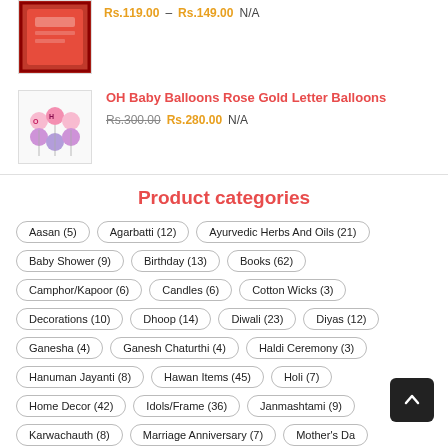Rs.119.00 – Rs.149.00 N/A
[Figure (photo): Product image - red decorative item]
OH Baby Balloons Rose Gold Letter Balloons
Rs.300.00 Rs.280.00 N/A
Product categories
Aasan (5)
Agarbatti (12)
Ayurvedic Herbs And Oils (21)
Baby Shower (9)
Birthday (13)
Books (62)
Camphor/Kapoor (6)
Candles (6)
Cotton Wicks (3)
Decorations (10)
Dhoop (14)
Diwali (23)
Diyas (12)
Ganesha (4)
Ganesh Chaturthi (4)
Haldi Ceremony (3)
Hanuman Jayanti (8)
Hawan Items (45)
Holi (7)
Home Decor (42)
Idols/Frame (36)
Janmashtami (9)
Karwachauth (8)
Marriage Anniversary (7)
Mother's Day
Navratri (11)
Oil Burner / Aroma Diffusers (12)
Oils (10)